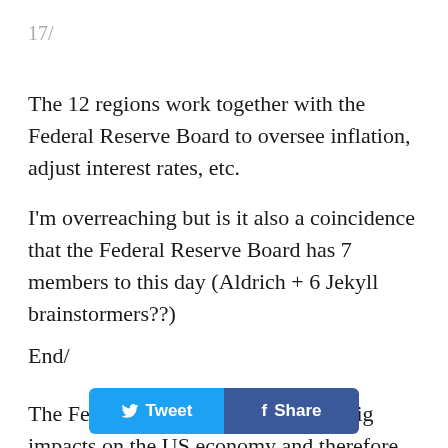17/
The 12 regions work together with the Federal Reserve Board to oversee inflation, adjust interest rates, etc.
I'm overreaching but is it also a coincidence that the Federal Reserve Board has 7 members to this day (Aldrich + 6 Jekyll brainstormers??)
End/
The Fed's decisions obviously have big impacts on the US economy and therefore the global economy